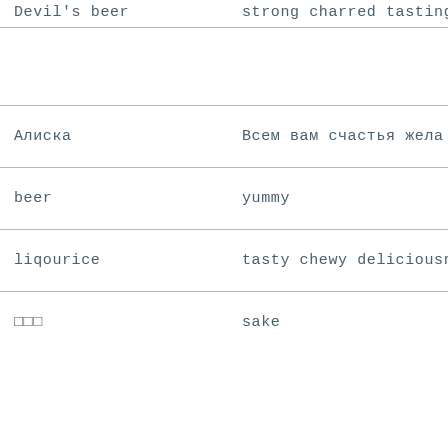| Devil's beer | strong charred tasting b… |
|  |  |
| Алиска | Всем вам счастья жела… |
| beer | yummy |
| liqourice | tasty chewy deliciousne… |
| □□□ | sake |